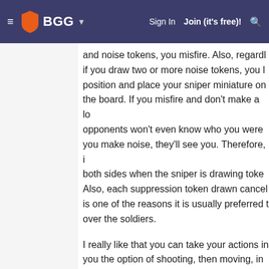BGG — Sign In   Join (it's free)!
and noise tokens, you misfire. Also, regardless, if you draw two or more noise tokens, you lose position and place your sniper miniature on the board. If you misfire and don't make a lot of noise, opponents won't even know who you were. But if you make noise, they'll see you. Therefore, it is for both sides when the sniper is drawing tokens. Also, each suppression token drawn cancels one, is one of the reasons it is usually preferred to over the soldiers.
I really like that you can take your actions in any order, you the option of shooting, then moving, in case you create noise, you might be able to sneak away from defenders. Again, other times it could be better to... Whatever it takes to throw off those ruthless
As an additional sniper action, you can loot